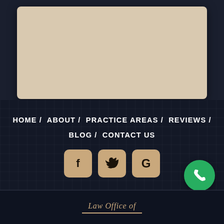[Figure (other): Beige/tan card or document placeholder on dark background]
HOME / ABOUT / PRACTICE AREAS / REVIEWS / BLOG / CONTACT US
[Figure (other): Social media icons: Facebook (f), Twitter (bird), Google (G) as tan rounded square buttons; green phone button]
Law Office of